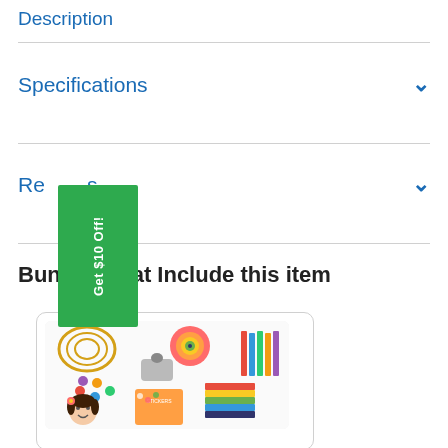Description
Specifications
Re...s
[Figure (other): Green promotional badge reading 'Get $10 Off!']
Bundles that Include this item
[Figure (photo): A collage of children's art and craft supply bundle products including a slinky, tape, beads, foam paper, pencils, and a smiling girl, shown within a rounded-corner card.]